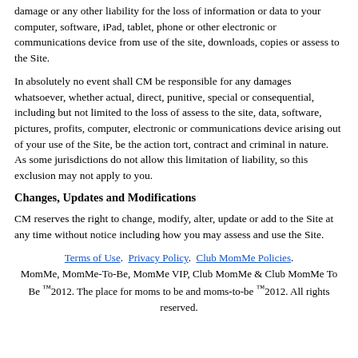damage or any other liability for the loss of information or data to your computer, software, iPad, tablet, phone or other electronic or communications device from use of the site, downloads, copies or assess to the Site.
In absolutely no event shall CM be responsible for any damages whatsoever, whether actual, direct, punitive, special or consequential, including but not limited to the loss of assess to the site, data, software, pictures, profits, computer, electronic or communications device arising out of your use of the Site, be the action tort, contract and criminal in nature.  As some jurisdictions do not allow this limitation of liability, so this exclusion may not apply to you.
Changes, Updates and Modifications
CM reserves the right to change, modify, alter, update or add to the Site at any time without notice including how you may assess and use the Site.
Terms of Use.  Privacy Policy.  Club MomMe Policies. MomMe, MomMe-To-Be, MomMe VIP, Club MomMe & Club MomMe To Be ™2012. The place for moms to be and moms-to-be ™2012. All rights reserved.